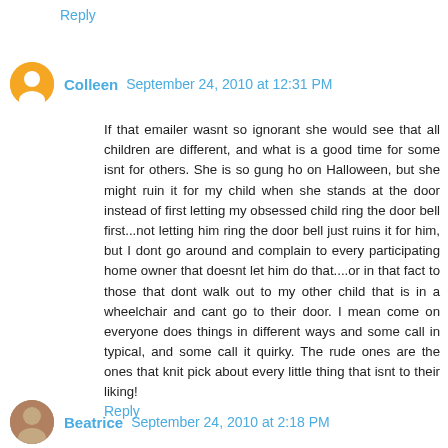Reply
Colleen  September 24, 2010 at 12:31 PM
If that emailer wasnt so ignorant she would see that all children are different, and what is a good time for some isnt for others. She is so gung ho on Halloween, but she might ruin it for my child when she stands at the door instead of first letting my obsessed child ring the door bell first...not letting him ring the door bell just ruins it for him, but I dont go around and complain to every participating home owner that doesnt let him do that....or in that fact to those that dont walk out to my other child that is in a wheelchair and cant go to their door. I mean come on everyone does things in different ways and some call in typical, and some call it quirky. The rude ones are the ones that knit pick about every little thing that isnt to their liking!
Reply
Beatrice  September 24, 2010 at 2:18 PM